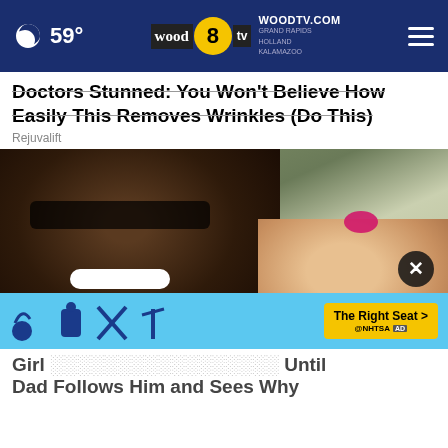59° | WOODTV.COM GRAND RAPIDS HOLLAND KALAMAZOO | wood 8 TV
Doctors Stunned: You Won't Believe How Easily This Removes Wrinkles (Do This)
Rejuvalift
[Figure (photo): A smiling man wearing sunglasses and a dark cap posing with a young girl who has a pink bow in her hair. The photo appears casual/personal.]
Girl ... Until Dad Follows Him and Sees Why